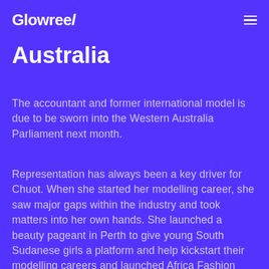Glowreel
Australia
The accountant and former international model is due to be sworn into the Western Australia Parliament next month.
Representation has always been a key driver for Chuot. When she started her modelling career, she saw major gaps within the industry and took matters into her own hands. She launched a beauty pageant in Perth to give young South Sudanese girls a platform and help kickstart their modelling careers and launched Africa Fashion Week to support and showcase local African designers and boutiques.